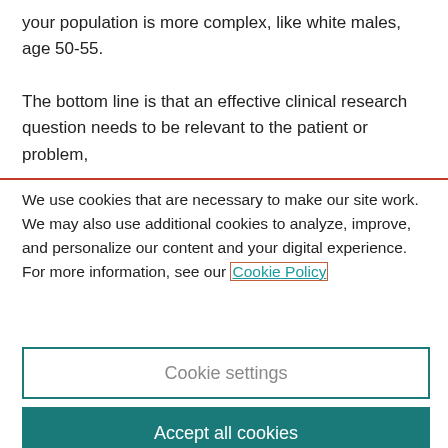your population is more complex, like white males, age 50-55.
The bottom line is that an effective clinical research question needs to be relevant to the patient or problem,
We use cookies that are necessary to make our site work. We may also use additional cookies to analyze, improve, and personalize our content and your digital experience. For more information, see our Cookie Policy
Cookie settings
Accept all cookies